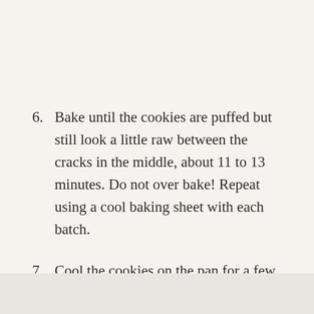6. Bake until the cookies are puffed but still look a little raw between the cracks in the middle, about 11 to 13 minutes. Do not over bake! Repeat using a cool baking sheet with each batch.
7. Cool the cookies on the pan for a few minutes then remove to a wire rack. Cool completely before storing.